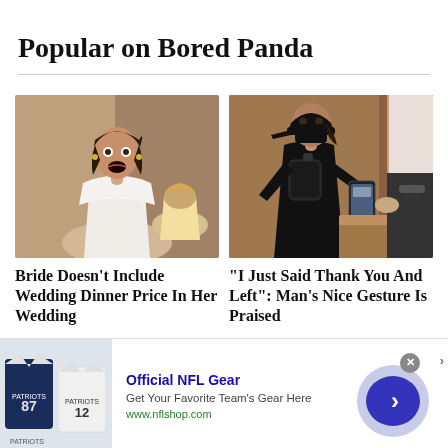Popular on Bored Panda
[Figure (photo): Bride in white dress with open mouth, shocked expression, at wedding reception]
Bride Doesn't Include Wedding Dinner Price In Her Wedding
[Figure (photo): Person in black cap and mask holding phone at doorway, handing over phone to someone]
"I Just Said Thank You And Left": Man's Nice Gesture Is Praised
[Figure (photo): NFL jerseys advertisement - navy and white Patriots shirts]
Official NFL Gear
Get Your Favorite Team's Gear Here
www.nflshop.com